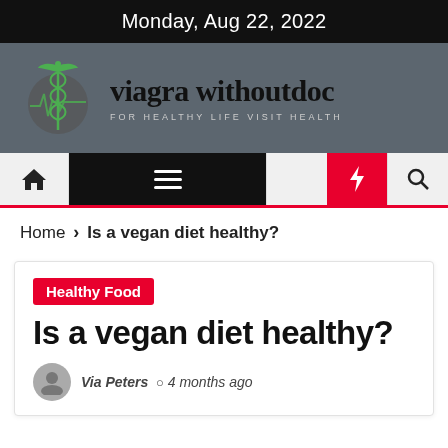Monday, Aug 22, 2022
[Figure (logo): Viagra withoutdoc website header with caduceus logo and tagline FOR HEALTHY LIFE VISIT HEALTH on a dark grey background]
[Figure (screenshot): Navigation bar with home icon, hamburger menu, moon icon, lightning bolt (red background), and search icon]
Home > Is a vegan diet healthy?
Healthy Food
Is a vegan diet healthy?
Via Peters  4 months ago